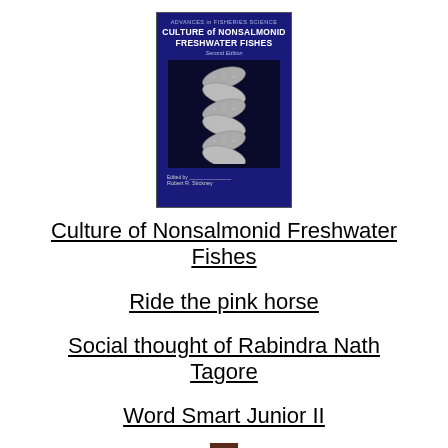[Figure (illustration): Book cover of 'Culture of Nonsalmonid Freshwater Fishes, Second Edition', part of Advances in Fisheries Science series, edited by Robert R. Stickney. Dark blue cover with fish illustration in dark inset panel.]
Culture of Nonsalmonid Freshwater Fishes
Ride the pink horse
Social thought of Rabindra Nath Tagore
Word Smart Junior II
[Figure (illustration): Small partial book cover, reddish-brown color, partially visible at bottom of page.]